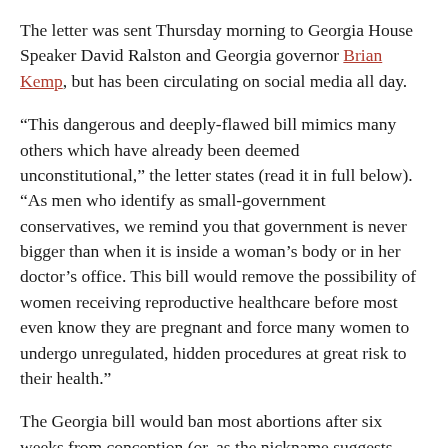The letter was sent Thursday morning to Georgia House Speaker David Ralston and Georgia governor Brian Kemp, but has been circulating on social media all day.
“This dangerous and deeply-flawed bill mimics many others which have already been deemed unconstitutional,” the letter states (read it in full below). “As men who identify as small-government conservatives, we remind you that government is never bigger than when it is inside a woman’s body or in her doctor’s office. This bill would remove the possibility of women receiving reproductive healthcare before most even know they are pregnant and force many women to undergo unregulated, hidden procedures at great risk to their health.”
The Georgia bill would ban most abortions after six weeks from conception (or, as the nickname suggests, when a “heapbeat” can be detected). The Georgia House of Representatives has yet to vote on the bill; Kemp is expected to sign it if and when the House passes it.